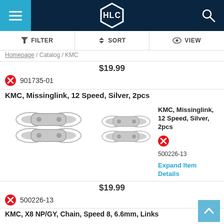[Figure (screenshot): HLC app header with hamburger menu on blue background left, HLC hexagon logo center on dark navy, search icon right on dark navy]
[Figure (infographic): Filter/Sort/View toolbar with icons]
Homepage / Catalog / KMC
$19.99
901735-01
KMC, Missinglink, 12 Speed, Silver, 2pcs
[Figure (photo): KMC Missinglink chain connector, silver, two oval metal chain links side by side]
[Figure (photo): KMC Missinglink chain connector, silver, two oval metal chain links side by side (second product)]
KMC, Missinglink, 12 Speed, Silver, 2pcs
500226-13
Expand Item Details
$19.99
500226-13
KMC, X8 NP/GY, Chain, Speed 8, 6.6mm, Links